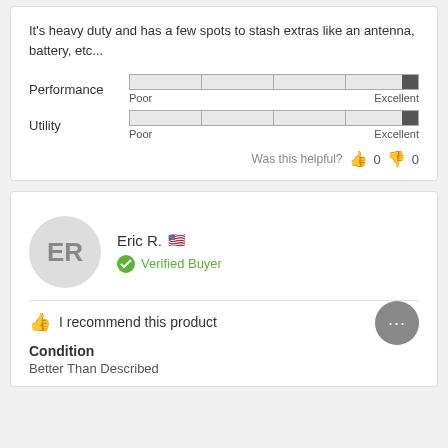It's heavy duty and has a few spots to stash extras like an antenna, battery, etc...
[Figure (infographic): Performance rating bar nearly full (excellent), labeled Poor to Excellent]
[Figure (infographic): Utility rating bar nearly full (excellent), labeled Poor to Excellent]
Was this helpful? 0 0
Eric R. 🇺🇸 Verified Buyer
I recommend this product
Condition
Better Than Described